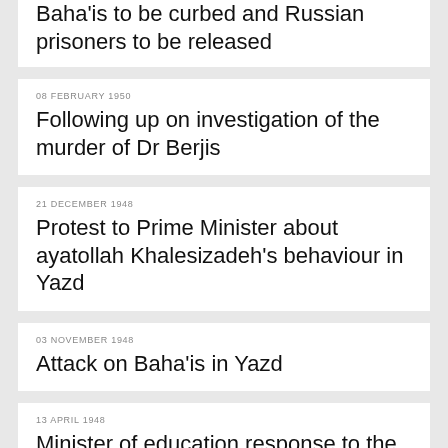Baha'is to be curbed and Russian prisoners to be released
08 FEBRUARY 1950
Following up on investigation of the murder of Dr Berjis
21 DECEMBER 1948
Protest to Prime Minister about ayatollah Khalesizadeh's behaviour in Yazd
03 NOVEMBER 1948
Attack on Baha'is in Yazd
13 APRIL 1948
Minister of education response to the PM on dismissal of Sabet Abadehi's son from school